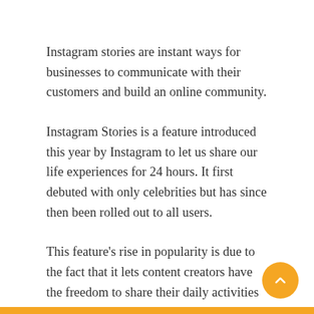Instagram stories are instant ways for businesses to communicate with their customers and build an online community.
Instagram Stories is a feature introduced this year by Instagram to let us share our life experiences for 24 hours. It first debuted with only celebrities but has since then been rolled out to all users.
This feature's rise in popularity is due to the fact that it lets content creators have the freedom to share their daily activities with a more personal and relatable approach.
Instagram has been around for a long time. In fact, it was only in October of 2016 that Instagram Stories was launched, allowing users to share temporary photos and